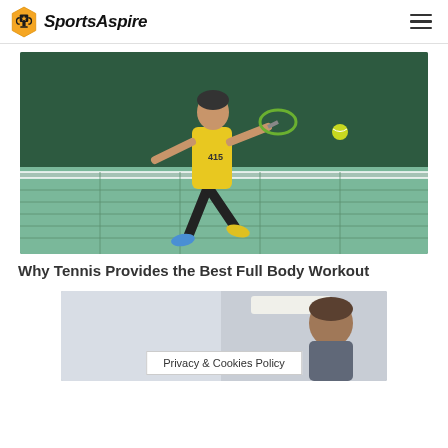SportsAspire
[Figure (photo): Tennis player in yellow shirt hitting a forehand shot near the net on an indoor tennis court]
Why Tennis Provides the Best Full Body Workout
[Figure (photo): Partial photo of a person, likely in a gym or sports facility setting]
Privacy & Cookies Policy